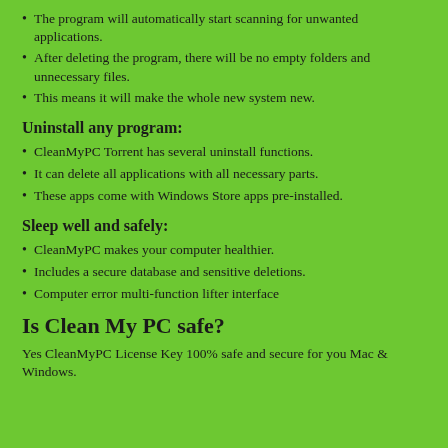The program will automatically start scanning for unwanted applications.
After deleting the program, there will be no empty folders and unnecessary files.
This means it will make the whole new system new.
Uninstall any program:
CleanMyPC Torrent has several uninstall functions.
It can delete all applications with all necessary parts.
These apps come with Windows Store apps pre-installed.
Sleep well and safely:
CleanMyPC makes your computer healthier.
Includes a secure database and sensitive deletions.
Computer error multi-function lifter interface
Is Clean My PC safe?
Yes CleanMyPC License Key 100% safe and secure for you Mac & Windows.